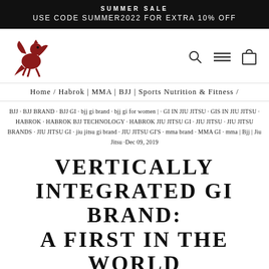SUMMER SALE
USE CODE SUMMER2022 FOR EXTRA 10% OFF
[Figure (logo): Red griffin/dragon logo for Habrok brand]
Home / Habrok | MMA | BJJ | Sports Nutrition & Fitness /
BJJ · BJJ BRAND · BJJ GI · bjj gi brand · bjj gi for women | · GI IN JIU JITSU · GIS IN JIU JITSU · HABROK · HABROK BJJ TECHNOLOGY · HABROK JIU JITSU GI · JIU JITSU · JIU JITSU BRANDS · JIU JITSU GI · jiu jitsu gi brand · JIU JITSU GI'S · mma brand · MMA GI · mma | Bjj | Jiu Jitsu · Dec 09, 2019
VERTICALLY INTEGRATED GI BRAND: A FIRST IN THE WORLD OF JIU-JITSU